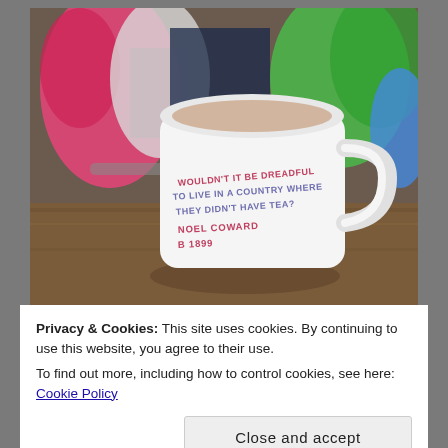[Figure (photo): A white ceramic mug with text reading 'Wouldn't it be dreadful to live in a country where they didn't have tea? Noel Coward b 1899', placed on a wooden surface with colorful parrot artwork in the background.]
Privacy & Cookies: This site uses cookies. By continuing to use this website, you agree to their use.
To find out more, including how to control cookies, see here: Cookie Policy
Close and accept